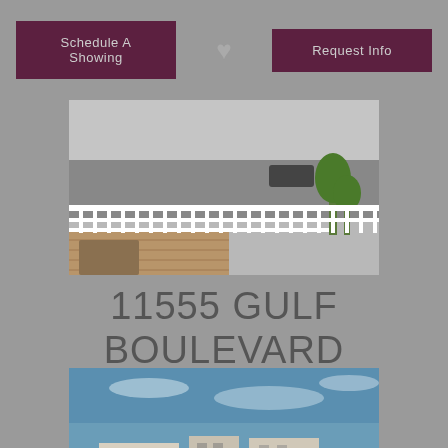Schedule A Showing | ♥ | Request Info
[Figure (photo): Balcony with white metal railing overlooking a road and palm trees]
11555 GULF BOULEVARD #112
Price: $787,500
[Figure (photo): Aerial beach view showing ocean, buildings and beach]